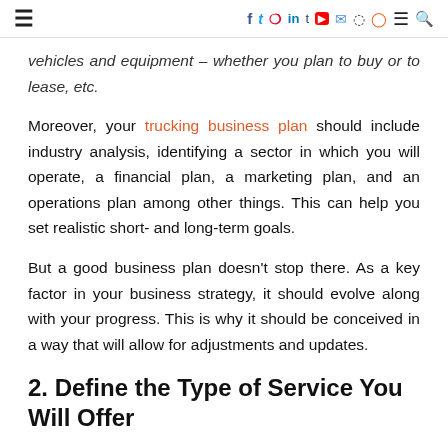≡   f t p in t ▶ ✉ ⌂ ⊕ ≡ 🔍
vehicles and equipment – whether you plan to buy or to lease, etc.
Moreover, your trucking business plan should include industry analysis, identifying a sector in which you will operate, a financial plan, a marketing plan, and an operations plan among other things. This can help you set realistic short- and long-term goals.
But a good business plan doesn't stop there. As a key factor in your business strategy, it should evolve along with your progress. This is why it should be conceived in a way that will allow for adjustments and updates.
2. Define the Type of Service You Will Offer
Even though it's such a large industry with many big and small companies, there is a lot of room in the world of truck